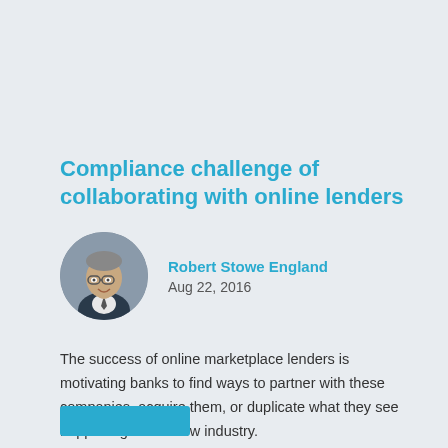Compliance challenge of collaborating with online lenders
Robert Stowe England
Aug 22, 2016
[Figure (photo): Circular portrait photo of Robert Stowe England, a middle-aged man wearing glasses and a suit with tie]
The success of online marketplace lenders is motivating banks to find ways to partner with these companies, acquire them, or duplicate what they see happening in this new industry.